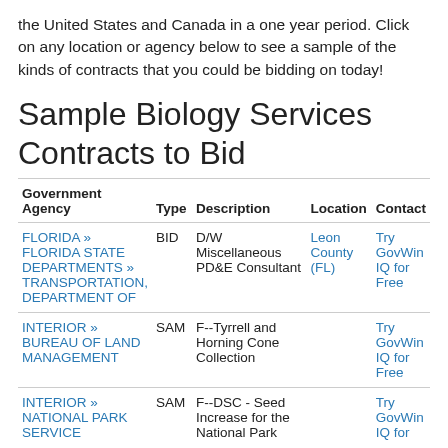the United States and Canada in a one year period. Click on any location or agency below to see a sample of the kinds of contracts that you could be bidding on today!
Sample Biology Services Contracts to Bid
| Government Agency | Type | Description | Location | Contact |
| --- | --- | --- | --- | --- |
| FLORIDA » FLORIDA STATE DEPARTMENTS » TRANSPORTATION, DEPARTMENT OF | BID | D/W Miscellaneous PD&E Consultant | Leon County (FL) | Try GovWin IQ for Free |
| INTERIOR » BUREAU OF LAND MANAGEMENT | SAM | F--Tyrrell and Horning Cone Collection |  | Try GovWin IQ for Free |
| INTERIOR » NATIONAL PARK SERVICE | SAM | F--DSC - Seed Increase for the National Park |  | Try GovWin IQ for |